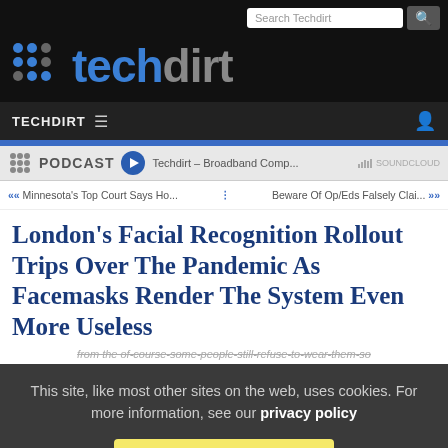Techdirt
PODCAST  Techdirt – Broadband Comp...  SOUNDCLOUD
« Minnesota's Top Court Says Ho...  Beware Of Op/Eds Falsely Clai... »
London's Facial Recognition Rollout Trips Over The Pandemic As Facemasks Render The System Even More Useless
from the of-course-some-people-still-refuse-to-wear-them-so
This site, like most other sites on the web, uses cookies. For more information, see our privacy policy
GOT IT